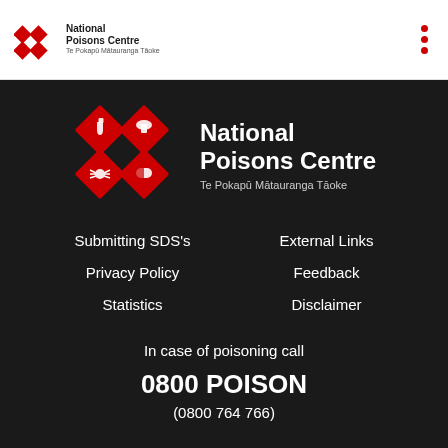[Figure (logo): National Poisons Centre logo in header - small red diamond grid icon with text 'National Poisons Centre']
[Figure (logo): National Poisons Centre large logo on dark background - red diamond grid with icons (bottle, mushroom, spider, capsule) and white text 'National Poisons Centre / Te Pokapū Mātauranga Tāoke']
Submitting SDS's
External Links
Privacy Policy
Feedback
Statistics
Disclaimer
In case of poisoning call
0800 POISON
(0800 764 766)